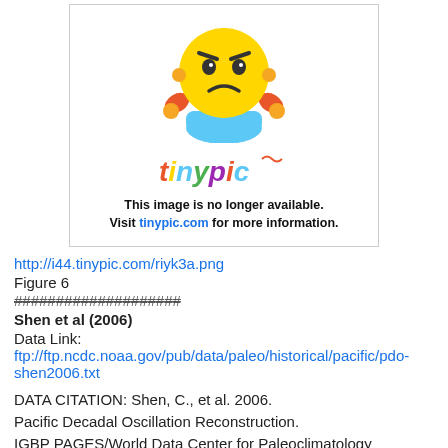[Figure (illustration): Tinypic placeholder image showing an angry emoji cartoon with text 'This image is no longer available. Visit tinypic.com for more information.']
http://i44.tinypic.com/riyk3a.png
Figure 6
####################
Shen et al (2006)
Data Link:
ftp://ftp.ncdc.noaa.gov/pub/data/paleo/historical/pacific/pdo-shen2006.txt
DATA CITATION: Shen, C., et al. 2006.
Pacific Decadal Oscillation Reconstruction.
IGBP PAGES/World Data Center for Paleoclimatology
Data Contribution Series # 2006-045.
NOAA/NCDC Paleoclimatology Program, Boulder CO, USA